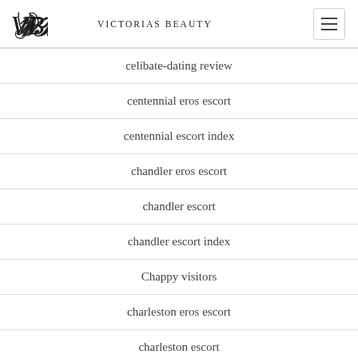Victorias Beauty
celibate-dating review
centennial eros escort
centennial escort index
chandler eros escort
chandler escort
chandler escort index
Chappy visitors
charleston eros escort
charleston escort